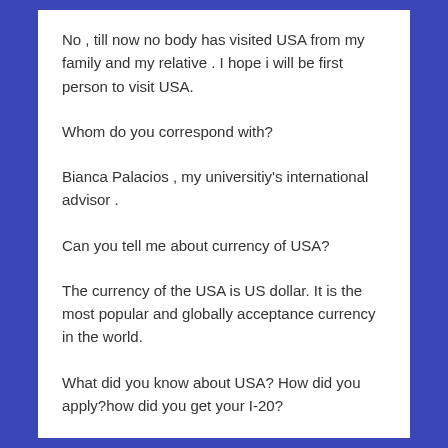No , till now no body has visited USA from my family and my relative . I hope i will be first person to visit USA.
Whom do you correspond with?
Bianca Palacios , my universitiy's international advisor .
Can you tell me about currency of USA?
The currency of the USA is US dollar. It is the most popular and globally acceptance currency in the world.
What did you know about USA? How did you apply?how did you get your I-20?